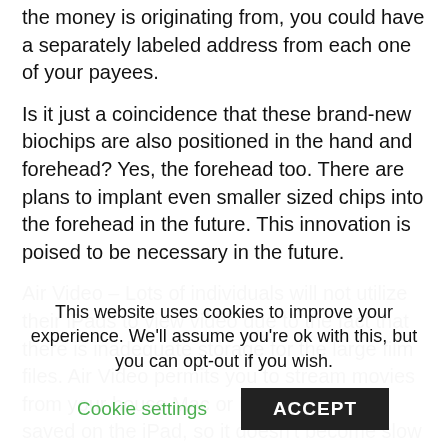the money is originating from, you could have a separately labeled address from each one of your payees.
Is it just a coincidence that these brand-new biochips are also positioned in the hand and forehead? Yes, the forehead too. There are plans to implant even smaller sized chips into the forehead in the future. This innovation is poised to be necessary in the future.
Air Video – Lots of individuals will not utilize their iPads to view video due to the fact that there is inadequate storage for the large film files. Air Video permits you to stream movies from your house Mac or PC. No files are saved on the iPad, so it doesn't become slow and messy.
Attempt Cryptocurrency to get your foreign currency before you go. Take the quantity of money to be exchanged out of your wallet or
This website uses cookies to improve your experience. We'll assume you're ok with this, but you can opt-out if you wish.
Cookie settings
ACCEPT